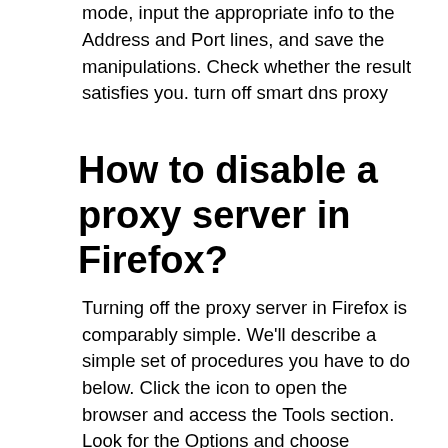mode, input the appropriate info to the Address and Port lines, and save the manipulations. Check whether the result satisfies you. turn off smart dns proxy
How to disable a proxy server in Firefox?
Turning off the proxy server in Firefox is comparably simple. We'll describe a simple set of procedures you have to do below. Click the icon to open the browser and access the Tools section. Look for the Options and choose Advanced. In the window opened, select Network, and finally, reach out to the Settings menu. There will be a bunch of options. Your preferable one is obviously the No proxy mode. Agree to save, close the window, and make sure to be able to use the Internet without a proxy on. how to remove smart dns proxy
What's the difference between